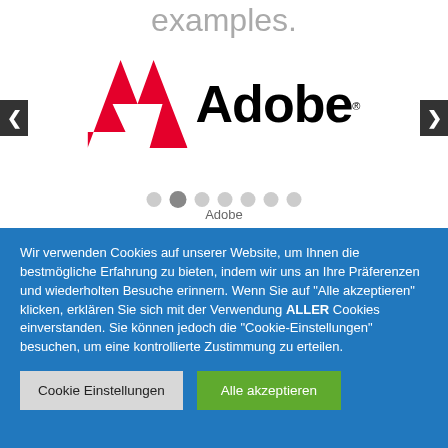examples.
[Figure (logo): Adobe logo with red stylized A mark and black Adobe wordmark, inside a carousel with left/right navigation arrows and pagination dots]
Wir verwenden Cookies auf unserer Website, um Ihnen die bestmögliche Erfahrung zu bieten, indem wir uns an Ihre Präferenzen und wiederholten Besuche erinnern. Wenn Sie auf "Alle akzeptieren" klicken, erklären Sie sich mit der Verwendung ALLER Cookies einverstanden. Sie können jedoch die "Cookie-Einstellungen" besuchen, um eine kontrollierte Zustimmung zu erteilen.
Cookie Einstellungen
Alle akzeptieren